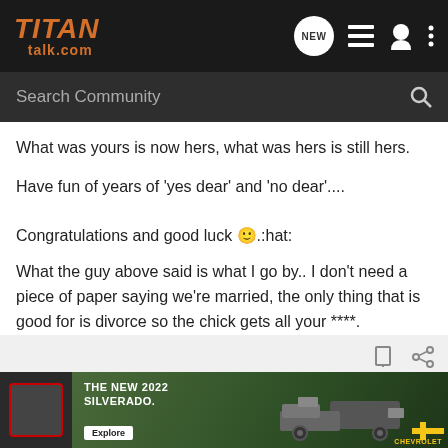[Figure (logo): TITANtalk.com logo with orange italic text on dark header bar, with navigation icons (NEW chat bubble, list, user, three dots)]
Search Community
What was yours is now hers, what was hers is still hers.
Have fun of years of 'yes dear' and 'no dear'....
Congratulations and good luck 🙂.:hat:
What the guy above said is what I go by.. I don't need a piece of paper saying we're married, the only thing that is good for is divorce so the chick gets all your ****.
[Figure (screenshot): Chevrolet advertisement banner for The New 2022 Silverado with truck image, Explore button, and Chevrolet logo]